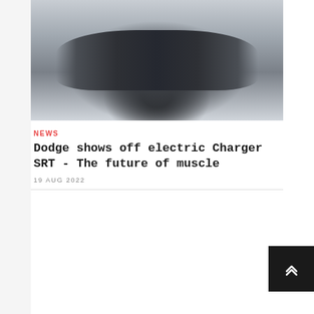[Figure (photo): A dark gray/charcoal Dodge Charger SRT electric concept car photographed in front of a garage, three-quarter front view]
NEWS
Dodge shows off electric Charger SRT - The future of muscle
19 AUG 2022